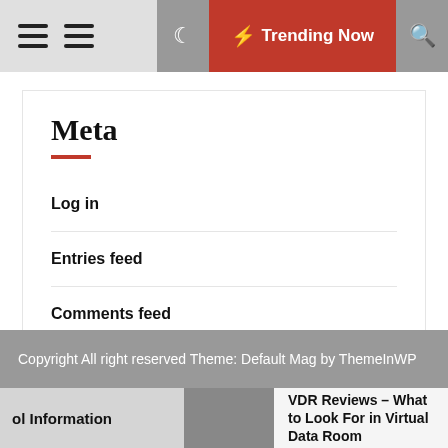Trending Now
Meta
Log in
Entries feed
Comments feed
WordPress.org
Copyright All right reserved Theme: Default Mag by ThemeInWP
ol Information
VDR Reviews – What to Look For in Virtual Data Room